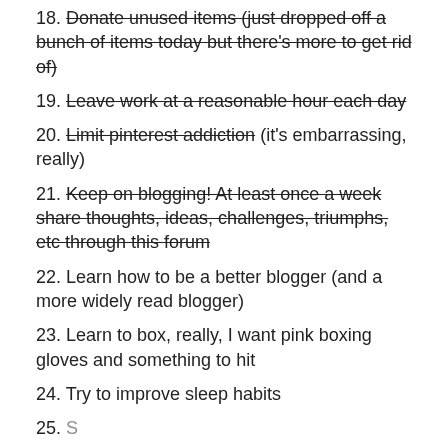18. Donate unused items (just dropped off a bunch of items today but there's more to get rid of)
19. Leave work at a reasonable hour each day
20. Limit pinterest addiction (it's embarrassing, really)
21. Keep on blogging! At least once a week share thoughts, ideas, challenges, triumphs, etc through this forum
22. Learn how to be a better blogger (and a more widely read blogger)
23. Learn to box, really, I want pink boxing gloves and something to hit
24. Try to improve sleep habits
25. (partially visible)